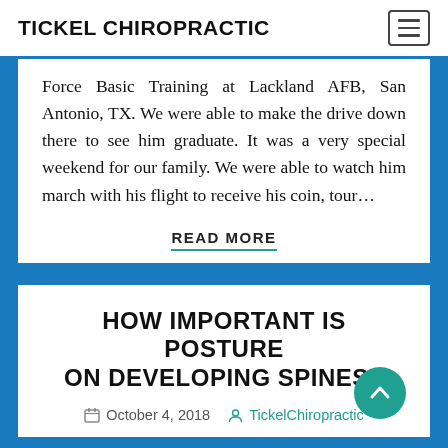TICKEL CHIROPRACTIC
Force Basic Training at Lackland AFB, San Antonio, TX. We were able to make the drive down there to see him graduate. It was a very special weekend for our family. We were able to watch him march with his flight to receive his coin, tour…
READ MORE
HOW IMPORTANT IS POSTURE ON DEVELOPING SPINES?
October 4, 2018  TickelChiropractic